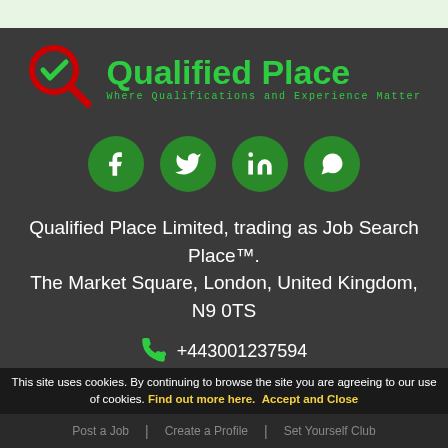[Figure (logo): Qualified Place logo with magnifier icon and green text. Tagline: Where Qualifications and Experience Matter]
[Figure (infographic): Four green circular social media icons: Facebook, Twitter, LinkedIn, WhatsApp]
Qualified Place Limited, trading as Job Search Place™.
The Market Square, London, United Kingdom, N9 0TS
+443001237594
contact@qualifiedplacejobs.com
This site uses cookies. By continuing to browse the site you are agreeing to our use of cookies. Find out more here.  Accept and Close
Post a Job | Create a Profile | Set Yourself Club